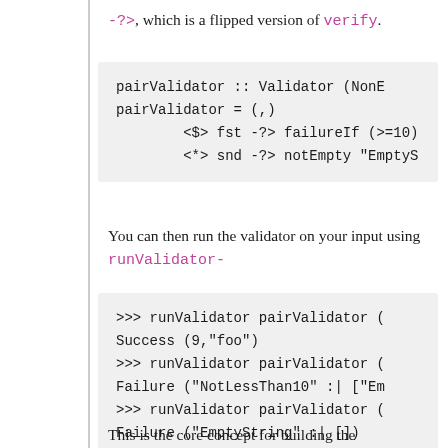-?>, which is a flipped version of verify.
pairValidator :: Validator (NonE
pairValidator = (,)
        <$> fst -?> failureIf (>=10)
        <*> snd -?> notEmpty "EmptyS
You can then run the validator on your input using runValidator-
>>> runValidator pairValidator (
Success (9,"foo")
>>> runValidator pairValidator (
Failure ("NotLessThan10" :| ["Em
>>> runValidator pairValidator (
Failure ("EmptyString" :| [])
This is the core concept for building the